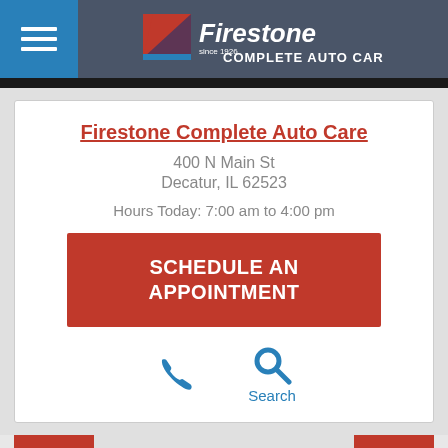Firestone Complete Auto Care (logo/header)
Firestone Complete Auto Care
400 N Main St
Decatur, IL 62523
Hours Today: 7:00 am to 4:00 pm
SCHEDULE AN APPOINTMENT
[Figure (screenshot): Phone and Search icons]
More Locations
Tire Offers